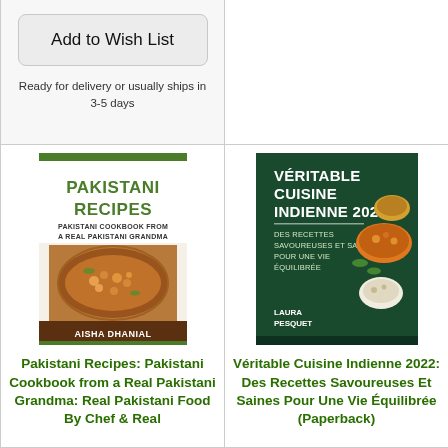Add to Wish List
Ready for delivery or usually ships in 3-5 days
[Figure (illustration): Book cover: Pakistani Recipes: Pakistani Cookbook from a Real Pakistani Grandma by Aisha Dhanial. Green title text on white background with image of curry dish.]
[Figure (illustration): Book cover: Véritable Cuisine Indienne 2022: Des Recettes Savoureuses Et Saines Pour Une Vie Équilibrée by Laura Pesquet. Dark green background with white text and Indian food imagery.]
Pakistani Recipes: Pakistani Cookbook from a Real Pakistani Grandma: Real Pakistani Food By Chef & Real
Véritable Cuisine Indienne 2022: Des Recettes Savoureuses Et Saines Pour Une Vie Équilibrée (Paperback)